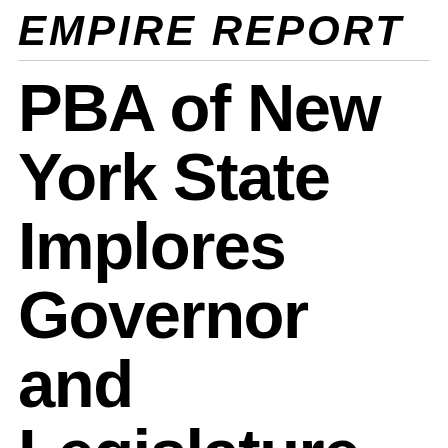EMPIRE REPORT
PBA of New York State Implores Governor and Legislature to